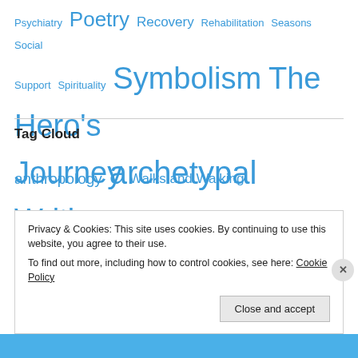Psychiatry Poetry Recovery Rehabilitation Seasons Social Support Spirituality Symbolism The Hero's Journey Walks and Walking Writing
Tag Cloud
anthropology archetypal energy archetypal symbols art arts arts funding
Privacy & Cookies: This site uses cookies. By continuing to use this website, you agree to their use. To find out more, including how to control cookies, see here: Cookie Policy
Close and accept